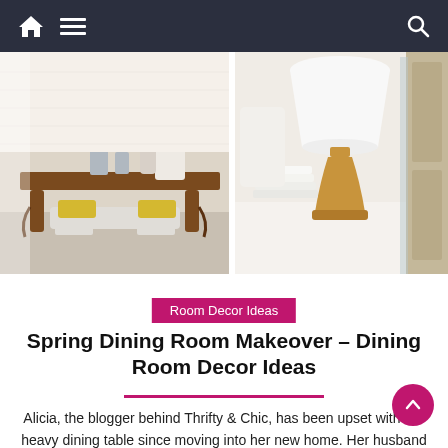Navigation bar with home icon, hamburger menu, and search icon
[Figure (photo): Two-panel photo strip: left panel shows a dining room with a dark wood table, white upholstered bench with yellow pillows, lanterns, and sunburst mirror; right panel shows a close-up of a gold candlestick holder with a white lamp shade and stacked white plates.]
Room Decor Ideas
Spring Dining Room Makeover – Dining Room Decor Ideas
Alicia, the blogger behind Thrifty & Chic, has been upset with her heavy dining table since moving into her new home. Her husband loves the sturdy giant, so she knew she couldn't get rid of it, but needed a more airy space. Economical and chic. The result of his thrifty decorating work is proof that [...]